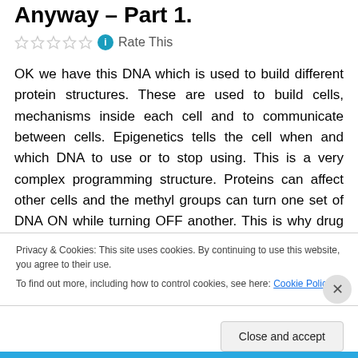Anyway – Part 1.
Rate This
OK we have this DNA which is used to build different protein structures. These are used to build cells, mechanisms inside each cell and to communicate between cells. Epigenetics tells the cell when and which DNA to use or to stop using. This is a very complex programming structure. Proteins can affect other cells and the methyl groups can turn one set of DNA ON while turning OFF another. This is why drug interactions is so
Privacy & Cookies: This site uses cookies. By continuing to use this website, you agree to their use.
To find out more, including how to control cookies, see here: Cookie Policy
Close and accept